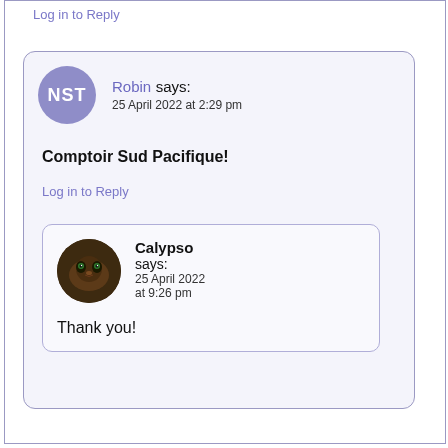Log in to Reply
Robin says: 25 April 2022 at 2:29 pm
Comptoir Sud Pacifique!
Log in to Reply
Calypso says: 25 April 2022 at 9:26 pm
Thank you!